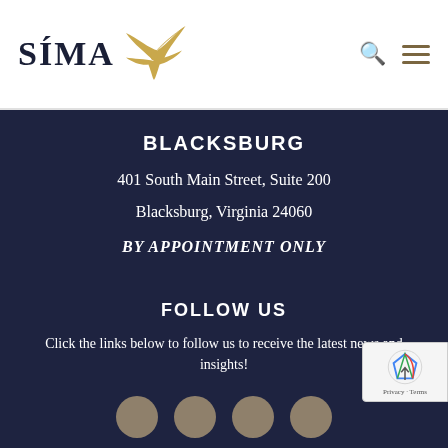[Figure (logo): SIMA logo with stylized falcon/bird graphic in gold and dark navy text]
BLACKSBURG
401 South Main Street, Suite 200
Blacksburg, Virginia 24060
BY APPOINTMENT ONLY
FOLLOW US
Click the links below to follow us to receive the latest news and insights!